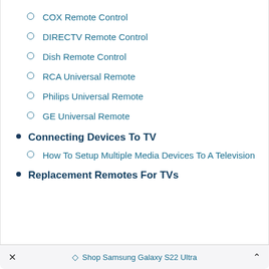COX Remote Control
DIRECTV Remote Control
Dish Remote Control
RCA Universal Remote
Philips Universal Remote
GE Universal Remote
Connecting Devices To TV
How To Setup Multiple Media Devices To A Television
Replacement Remotes For TVs
× ◇ Shop Samsung Galaxy S22 Ultra ^